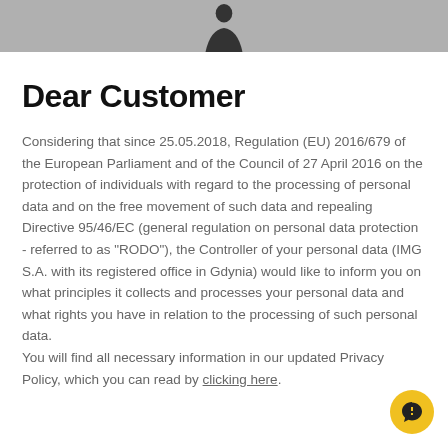[Figure (photo): Gray banner at top with a dark silhouette figure centered]
Dear Customer
Considering that since 25.05.2018, Regulation (EU) 2016/679 of the European Parliament and of the Council of 27 April 2016 on the protection of individuals with regard to the processing of personal data and on the free movement of such data and repealing Directive 95/46/EC (general regulation on personal data protection - referred to as "RODO"), the Controller of your personal data (IMG S.A. with its registered office in Gdynia) would like to inform you on what principles it collects and processes your personal data and what rights you have in relation to the processing of such personal data.
You will find all necessary information in our updated Privacy Policy, which you can read by clicking here.